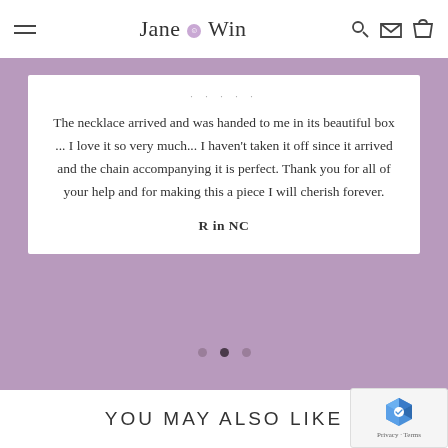Jane Win
The necklace arrived and was handed to me in its beautiful box ... I love it so very much... I haven't taken it off since it arrived and the chain accompanying it is perfect. Thank you for all of your help and for making this a piece I will cherish forever.
R in NC
YOU MAY ALSO LIKE